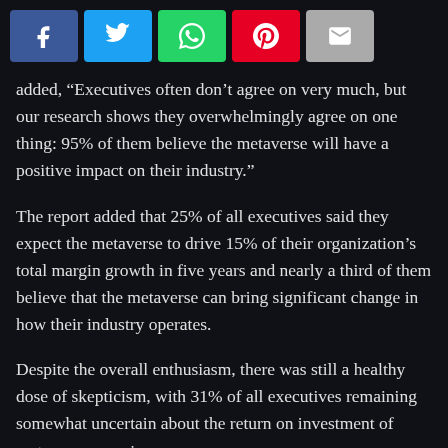[Figure (other): Social media share buttons: Facebook (blue), Twitter (light blue), WhatsApp (green), Pinterest (red), Email (grey)]
added, “Executives often don’t agree on very much, but our research shows they overwhelmingly agree on one thing: 95% of them believe the metaverse will have a positive impact on their industry.”
The report added that 25% of all executives said they expect the metaverse to drive 15% of their organization’s total margin growth in five years and nearly a third of them believe that the metaverse can bring significant change in how their industry operates.
Despite the overall enthusiasm, there was still a healthy dose of skepticism, with 31% of all executives remaining somewhat uncertain about the return on investment of metaverse experiences